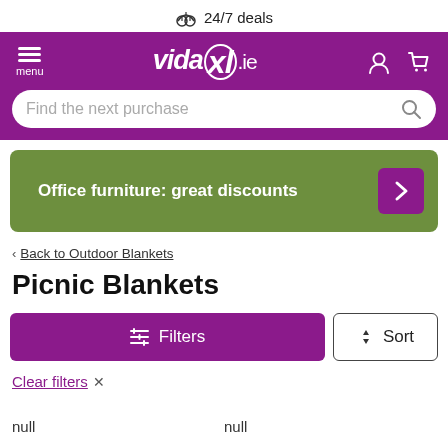24/7 deals
[Figure (screenshot): VidaXL.ie mobile navigation bar with hamburger menu, logo, user icon, and cart icon on purple background]
[Figure (screenshot): Search bar with placeholder text 'Find the next purchase' and search icon, on purple background]
[Figure (screenshot): Green promotional banner reading 'Office furniture: great discounts' with purple arrow button]
< Back to Outdoor Blankets
Picnic Blankets
[Figure (screenshot): Purple Filters button and Sort button in a row]
Clear filters ×
null   null